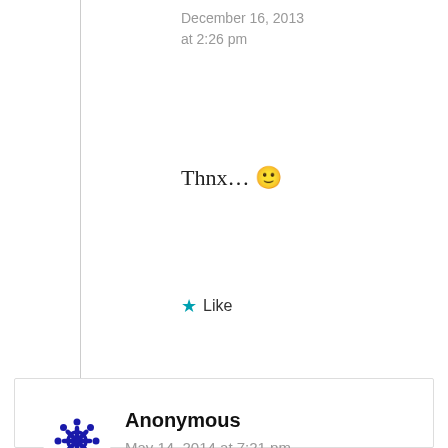December 16, 2013 at 2:26 pm
Thnx… 🙂
★ Like
Anonymous
May 14, 2014 at 7:21 pm
I'm a long term Orcad (<=16.2) user. Main Allegro/Orcad PCB gripes is a terrible CAD implementation in regards to mechanics and footprints. I always end up calculating coordinate and entering them. Pain in the